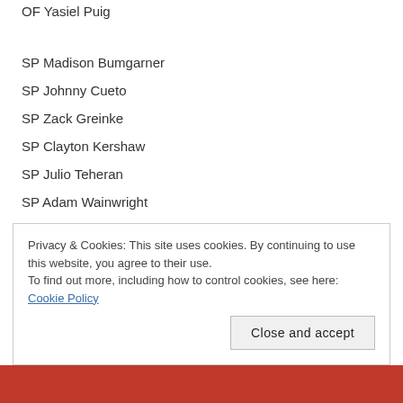OF Yasiel Puig
SP Madison Bumgarner
SP Johnny Cueto
SP Zack Greinke
SP Clayton Kershaw
SP Julio Teheran
SP Adam Wainwright
SP Jordan Zimmermann
RP Aroldis Chapman
RP Craig Kimbrel
RP Francisco Rodriguez
Privacy & Cookies: This site uses cookies. By continuing to use this website, you agree to their use. To find out more, including how to control cookies, see here: Cookie Policy
Close and accept